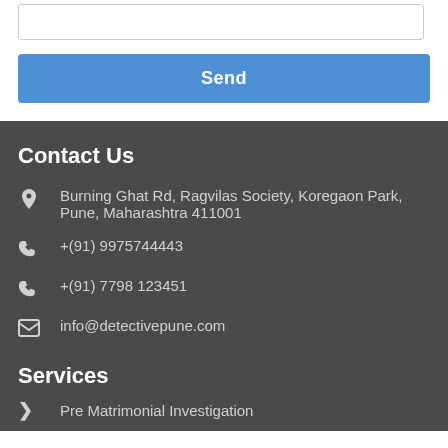[Figure (screenshot): Text area input box at top of page]
Send
Contact Us
Burning Ghat Rd, Ragvilas Society, Koregaon Park, Pune, Maharashtra 411001
+(91) 9975744443
+(91) 7798 123451
info@detectivepune.com
Services
Pre Matrimonial Investigation